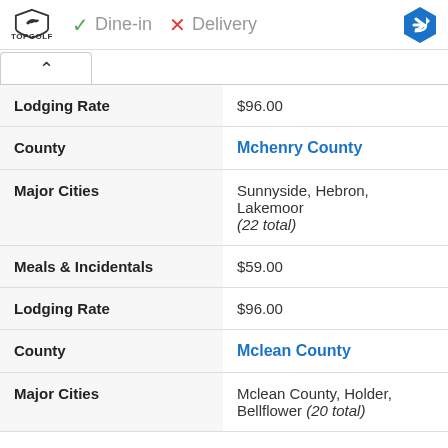[Figure (logo): Topgolf logo with shield icon]
✓ Dine-in  ✗ Delivery
| Field | Value |
| --- | --- |
| Lodging Rate | $96.00 |
| County | Mchenry County |
| Major Cities | Sunnyside, Hebron, Lakemoor (22 total) |
| Meals & Incidentals | $59.00 |
| Lodging Rate | $96.00 |
| County | Mclean County |
| Major Cities | Mclean County, Holder, Bellflower (20 total) |